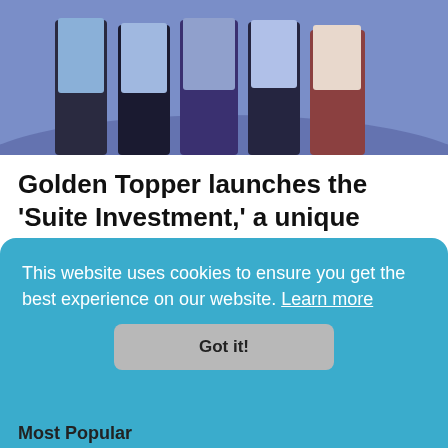[Figure (photo): Photo of several people standing together, cropped at waist level, in front of a purple/blue background]
Golden Topper launches the ‘Suite Investment,’ a unique upgrade to the ordinary studio unit
Commercial / Offices   Franz Lewin Embudo - April 29, 2022
This website uses cookies to ensure you get the best experience on our website. Learn more
Got it!
Most Popular